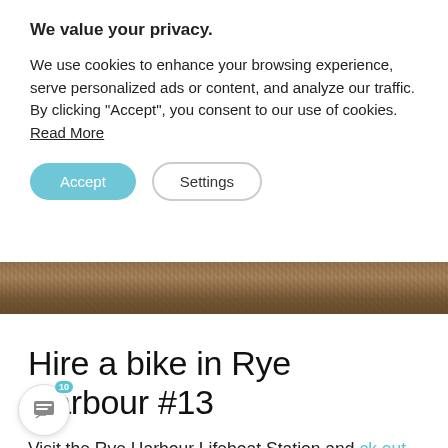We value your privacy.
We use cookies to enhance your browsing experience, serve personalized ads or content, and analyze our traffic. By clicking "Accept", you consent to our use of cookies. Read More
[Figure (photo): Brown pebble/gravel texture strip photo]
Hire a bike in Rye Harbour #13
Visit the Rye Harbour Lifeboat Station and ck out the Mary Stanford Lifeboat Pebble Memorial. Stop for a bite to eat at William